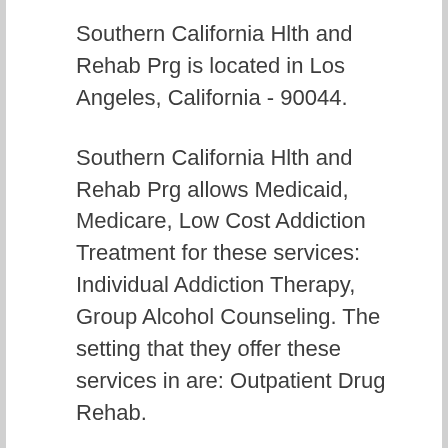Southern California Hlth and Rehab Prg is located in Los Angeles, California - 90044.
Southern California Hlth and Rehab Prg allows Medicaid, Medicare, Low Cost Addiction Treatment for these services: Individual Addiction Therapy, Group Alcohol Counseling. The setting that they offer these services in are: Outpatient Drug Rehab.
All of these programs are offered for the following types of care: Mental Health Treatment. Southern California Hlth and Rehab Prg also provides various special programs such as: Drug Rehab for Persons with Co-Occurring Substance Use and Mental Disorders, Court Ordered Outpatient